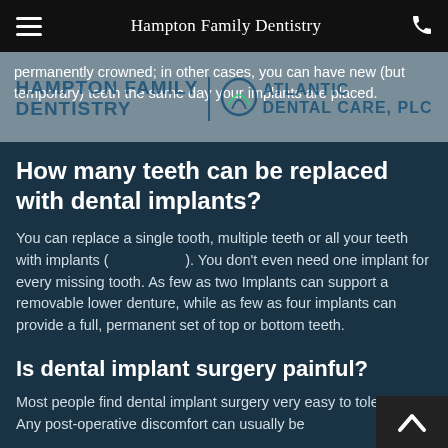Hampton Family Dentistry
permanently crowned; in other cases, you can have new (but temporary) teeth the same day your implants are placed.
How many teeth can be replaced with dental implants?
You can replace a single tooth, multiple teeth or all your teeth with implants ( ). You don't even need one implant for every missing tooth. As few as two Implants can support a removable lower denture, while as few as four implants can provide a full, permanent set of top or bottom teeth.
Is dental implant surgery painful?
Most people find dental implant surgery very easy to tolerate. Any post-operative discomfort can usually be